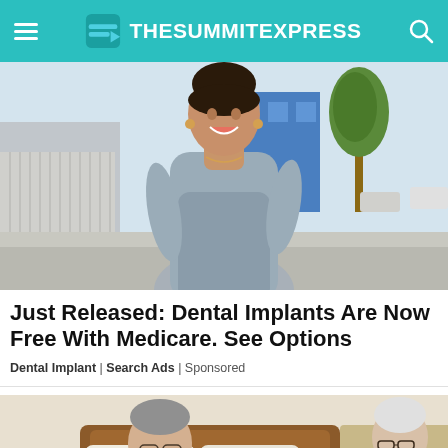TheSummitExpress
[Figure (photo): Young woman with dark hair up, wearing a grey fitted dress, smiling outdoors on a sidewalk with trees and buildings in background]
Just Released: Dental Implants Are Now Free With Medicare. See Options
Dental Implant | Search Ads | Sponsored
[Figure (photo): Elderly couple sitting together, appearing to be in a bedroom setting]